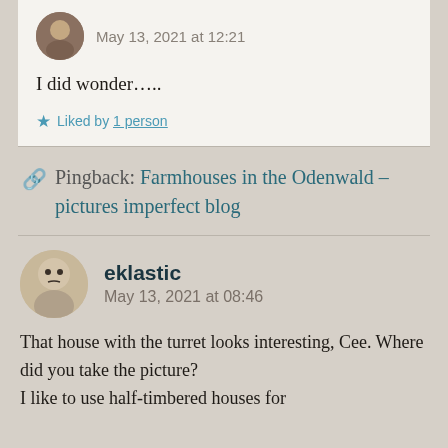May 13, 2021 at 12:21
I did wonder…..
Liked by 1 person
Pingback: Farmhouses in the Odenwald – pictures imperfect blog
eklastic
May 13, 2021 at 08:46
That house with the turret looks interesting, Cee. Where did you take the picture? I like to use half-timbered houses for